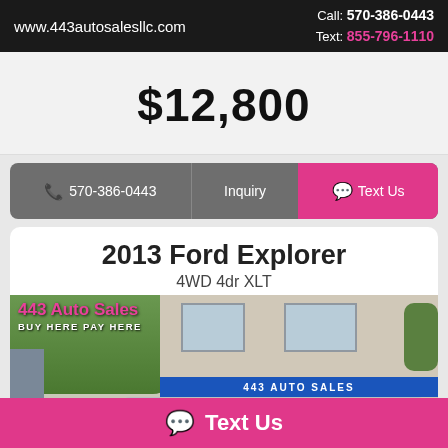www.443autosalesllc.com | Call: 570-386-0443 | Text: 855-796-1110
$12,800
570-386-0443 | Inquiry | Text Us
2013 Ford Explorer
4WD 4dr XLT
[Figure (photo): Photo of 443 Auto Sales dealership building with pink '443 Auto Sales' sign, 'BUY HERE PAY HERE' text, blue awning reading '443 AUTO SALES', and a vehicle visible in front. Scroll-up pink button in bottom-right corner.]
Text Us